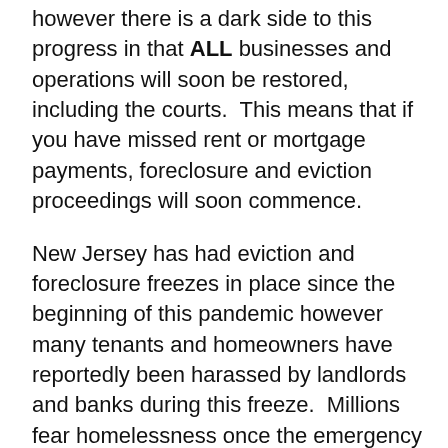however there is a dark side to this progress in that ALL businesses and operations will soon be restored, including the courts.  This means that if you have missed rent or mortgage payments, foreclosure and eviction proceedings will soon commence.
New Jersey has had eviction and foreclosure freezes in place since the beginning of this pandemic however many tenants and homeowners have reportedly been harassed by landlords and banks during this freeze.  Millions fear homelessness once the emergency declarations expire.
Will your bank or landlord work with you on loan modifications or a payment plan or will you have to pay these past few months in full once the stay